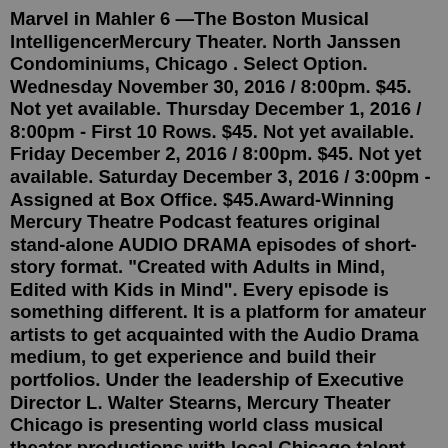Marvel in Mahler 6 —The Boston Musical IntelligencerMercury Theater. North Janssen Condominiums, Chicago . Select Option. Wednesday November 30, 2016 / 8:00pm. $45. Not yet available. Thursday December 1, 2016 / 8:00pm - First 10 Rows. $45. Not yet available. Friday December 2, 2016 / 8:00pm. $45. Not yet available. Saturday December 3, 2016 / 3:00pm - Assigned at Box Office. $45.Award-Winning Mercury Theatre Podcast features original stand-alone AUDIO DRAMA episodes of short-story format. "Created with Adults in Mind, Edited with Kids in Mind". Every episode is something different. It is a platform for amateur artists to get acquainted with the Audio Drama medium, to get experience and build their portfolios. Under the leadership of Executive Director L. Walter Stearns, Mercury Theater Chicago is presenting world class musical theater productions with local Chicago talent. Phone: 773-325-1700. Website: www.mercurytheaterchicago.com. Mercury Theatre Section Ghost Mercury Theater C...